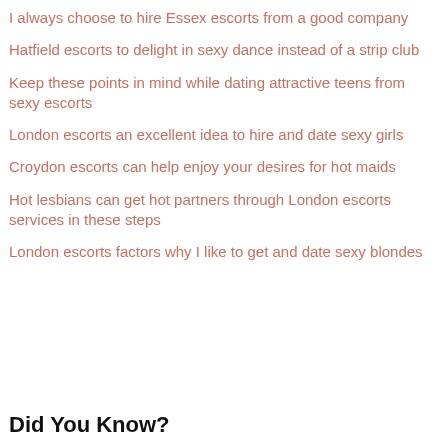I always choose to hire Essex escorts from a good company
Hatfield escorts to delight in sexy dance instead of a strip club
Keep these points in mind while dating attractive teens from sexy escorts
London escorts an excellent idea to hire and date sexy girls
Croydon escorts can help enjoy your desires for hot maids
Hot lesbians can get hot partners through London escorts services in these steps
London escorts factors why I like to get and date sexy blondes
Did You Know?